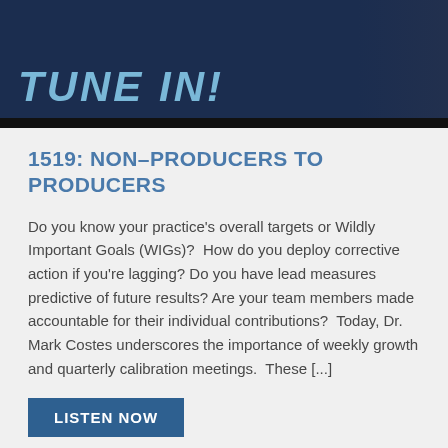[Figure (photo): Dark navy background with 'TUNE IN!' written in large blue handwritten-style text, with a partial figure of a person in a suit visible on the right side.]
1519: NON–PRODUCERS TO PRODUCERS
Do you know your practice's overall targets or Wildly Important Goals (WIGs)?  How do you deploy corrective action if you're lagging? Do you have lead measures predictive of future results? Are your team members made accountable for their individual contributions?  Today, Dr. Mark Costes underscores the importance of weekly growth and quarterly calibration meetings.  These [...]
LISTEN NOW